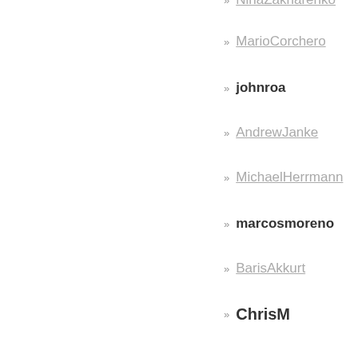NinaZakharenko
MarioCorchero
johnroa
AndrewJanke
MichaelHerrmann
marcosmoreno
BarisAkkurt
ChrisM
BetsyWaliszewski
Sevanti
EWDurbin
MichaelAbel
CAMGerlach
PySimpleGUI
JackieAugustine
AnthonyFlury
GilesThomas
ShivankGautam
Pratul1997